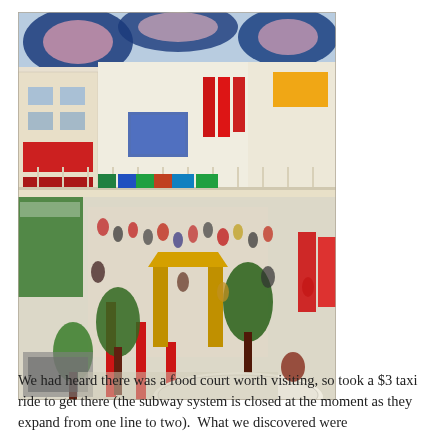[Figure (photo): Aerial/elevated view of a busy Chinese food court or market interior. The space features red decorative columns, green trees and plants, colorful banners and signs in Chinese characters, a multi-story building interior with balconies, many people walking around. The ceiling has large blue and pink floral decorations. Various shop fronts have red and yellow signage.]
We had heard there was a food court worth visiting, so took a $3 taxi ride to get there (the subway system is closed at the moment as they expand from one line to two).  What we discovered were